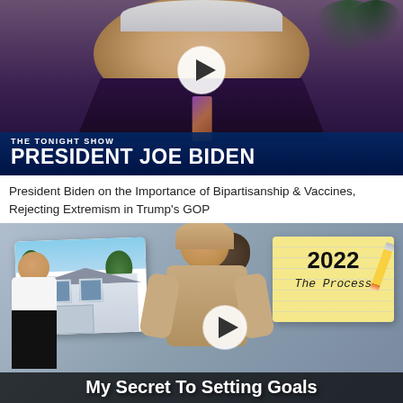[Figure (screenshot): Video thumbnail from The Tonight Show featuring President Joe Biden. A play button overlay is visible. Bottom bar shows 'THE TONIGHT SHOW' label and 'PRESIDENT JOE BIDEN' title in large white bold text on a dark blue background.]
President Biden on the Importance of Bipartisanship & Vaccines, Rejecting Extremism in Trump's GOP
[Figure (screenshot): Video thumbnail showing a woman smiling, a house photo, a notepad reading '2022 The Process' with a pencil, and a play button. Bottom text reads 'My Secret To Setting Goals'.]